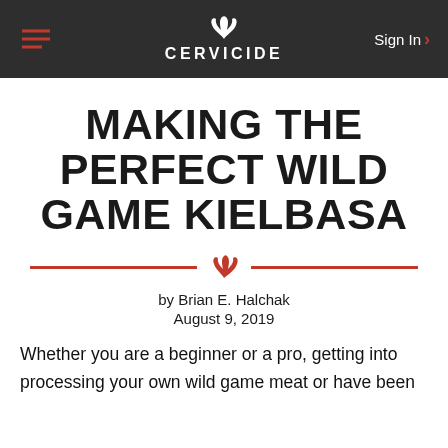CERVICIDE
MAKING THE PERFECT WILD GAME KIELBASA
by Brian E. Halchak
August 9, 2019
Whether you are a beginner or a pro, getting into processing your own wild game meat or have been